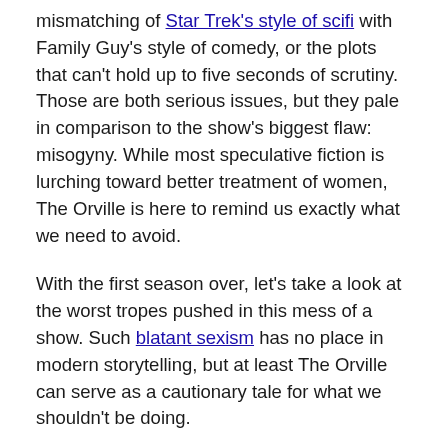mismatching of Star Trek's style of scifi with Family Guy's style of comedy, or the plots that can't hold up to five seconds of scrutiny. Those are both serious issues, but they pale in comparison to the show's biggest flaw: misogyny. While most speculative fiction is lurching toward better treatment of women, The Orville is here to remind us exactly what we need to avoid.
With the first season over, let's take a look at the worst tropes pushed in this mess of a show. Such blatant sexism has no place in modern storytelling, but at least The Orville can serve as a cautionary tale for what we shouldn't be doing.